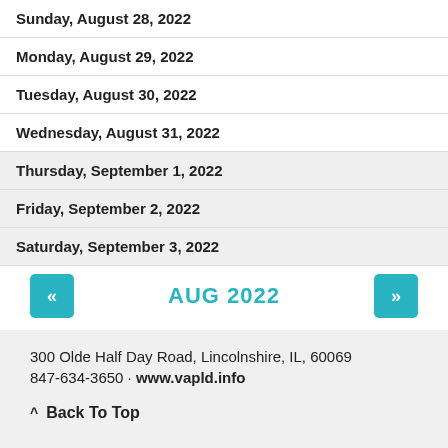Sunday, August 28, 2022
Monday, August 29, 2022
Tuesday, August 30, 2022
Wednesday, August 31, 2022
Thursday, September 1, 2022
Friday, September 2, 2022
Saturday, September 3, 2022
AUG 2022
300 Olde Half Day Road, Lincolnshire, IL, 60069
847-634-3650 · www.vapld.info
Back To Top